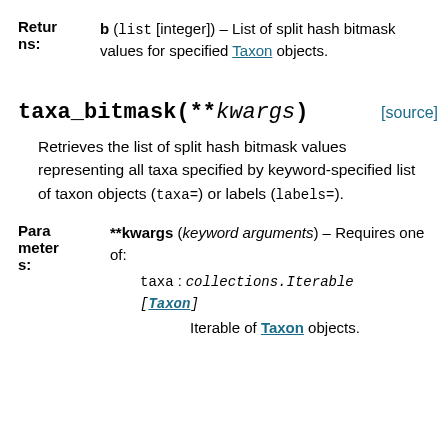| Returns: |  |
| --- | --- |
| Returns: | b (list [integer]) – List of split hash bitmask values for specified Taxon objects. |
taxa_bitmask(**kwargs)
Retrieves the list of split hash bitmask values representing all taxa specified by keyword-specified list of taxon objects (taxa=) or labels (labels=).
| Parameters: |  |
| --- | --- |
| Parameters: | **kwargs (keyword arguments) – Requires one of:
taxa : collections.Iterable[Taxon]
Iterable of Taxon objects. |